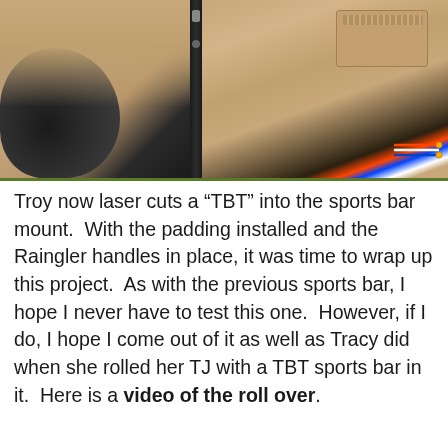[Figure (photo): Two side-by-side photos showing interior of a vehicle: left photo shows a black grab handle/knob and door interior trim in tan/beige; right photo shows the door panel interior with speaker grille and wiring visible at bottom right, separated by a black vertical bar (sports bar mount).]
Troy now laser cuts a “TBT” into the sports bar mount.  With the padding installed and the Raingler handles in place, it was time to wrap up this project.  As with the previous sports bar, I hope I never have to test this one.  However, if I do, I hope I come out of it as well as Tracy did when she rolled her TJ with a TBT sports bar in it.  Here is a video of the roll over.